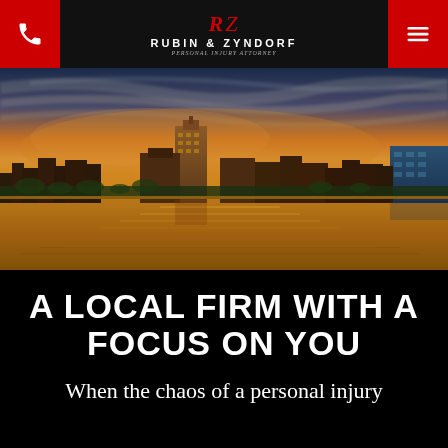Rubin & Zyndorf - Personal Injury Attorney
[Figure (photo): City skyline at sunset reflected in a river, dramatic clouds in sky, Toledo Ohio waterfront]
A LOCAL FIRM WITH A FOCUS ON YOU
When the chaos of a personal injury